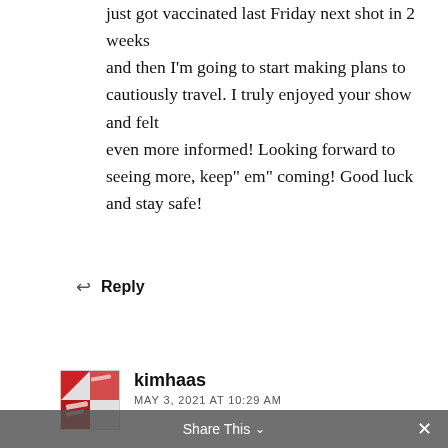just got vaccinated last Friday next shot in 2 weeks
and then I'm going to start making plans to cautiously travel. I truly enjoyed your show and felt
even more informed! Looking forward to seeing more, keep" em" coming! Good luck and stay safe!
Reply
kimhaas
MAY 3, 2021 AT 10:29 AM
Vanessa!! Thank you so much for your comment. It's nice to hear that you and I have the same dreams. I absolutely adore traveling to Latin America and studying the African diaspora. I'm
Share This